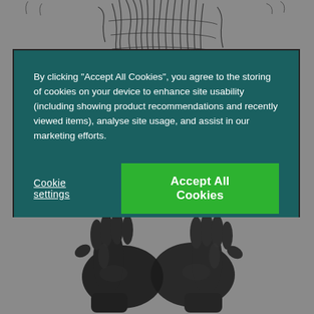[Figure (screenshot): Top portion of a webpage showing a dark decorative sketch/illustration at the top and a pair of black leather gloves at the bottom, all with a grey background overlay]
By clicking “Accept All Cookies”, you agree to the storing of cookies on your device to enhance site usability (including showing product recommendations and recently viewed items), analyse site usage, and assist in our marketing efforts.
Cookie settings
Accept All Cookies